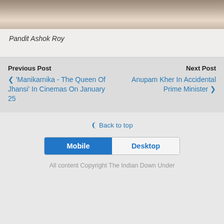[Figure (photo): Bottom portion of a photograph showing an outdoor scene]
Pandit Ashok Roy
Previous Post
< 'Manikarnika - The Queen Of Jhansi' In Cinemas On January 25
Next Post
Anupam Kher In Accidental Prime Minister >
Back to top
Mobile Desktop
All content Copyright The Indian Down Under